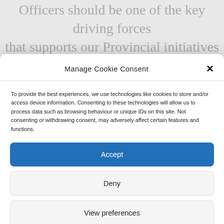Officers should be one of the key driving forces that supports our Provincial initiatives – you, its
Manage Cookie Consent
To provide the best experiences, we use technologies like cookies to store and/or access device information. Consenting to these technologies will allow us to process data such as browsing behaviour or unique IDs on this site. Not consenting or withdrawing consent, may adversely affect certain features and functions.
Accept
Deny
View preferences
Cookie Policy   Data Protection Notice